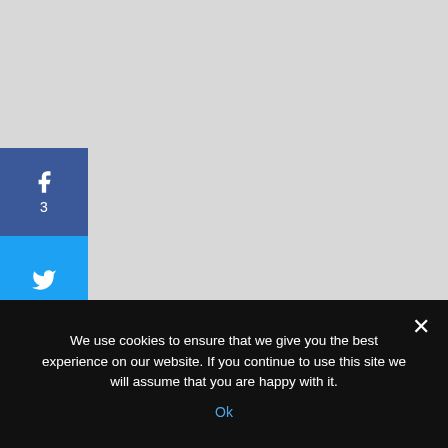[Figure (screenshot): Social media sharing sidebar with Facebook (f, 3), Twitter, Pinterest, LinkedIn, Email, and Print buttons stacked vertically on the left edge of a light gray webpage background.]
We use cookies to ensure that we give you the best experience on our website. If you continue to use this site we will assume that you are happy with it.
Ok